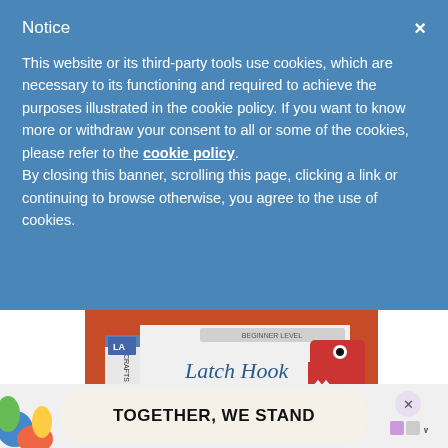Notice
This website or its third-party tools use cookies, which are necessary to its functioning and required to achieve the purposes illustrated in the cookie policy. If you want to know more or withdraw your consent to all or some of the cookies, please refer to the cookie policy. By closing this banner, scrolling this page, clicking a link or continuing to browse otherwise, you agree to the use of cookies.
[Figure (photo): Photo of a 'Latch Hook' craft book with 12 projects for the modern maker, shown against an orange/red background. The book cover shows a latch hook dinosaur design.]
[Figure (infographic): Advertisement banner reading 'TOGETHER, WE STAND' with colorful art on the left side, close button and logo on the right.]